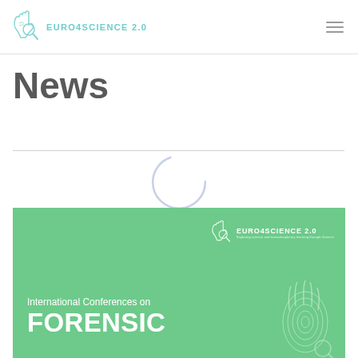EURO4SCIENCE 2.0
News
[Figure (screenshot): Green promotional banner for Euro4Science 2.0 International Conferences on Forensic Science, featuring logo, hand/magnifier icon, and fingerprint graphic]